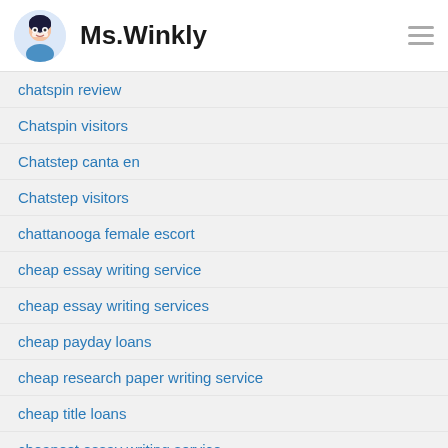Ms.Winkly
chatspin review
Chatspin visitors
Chatstep canta en
Chatstep visitors
chattanooga female escort
cheap essay writing service
cheap essay writing services
cheap payday loans
cheap research paper writing service
cheap title loans
cheapest essay writing service
cheapest payday loans
CheatingHouseWife review